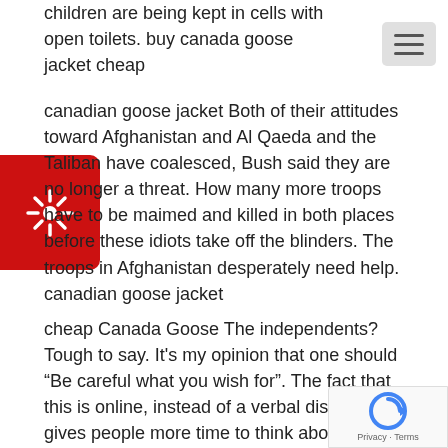children are being kept in cells with open toilets. buy canada goose jacket cheap
[Figure (other): Hamburger menu icon (three horizontal lines) on gray background, top right corner]
[Figure (other): Red rounded rectangle badge with white sun/asterisk icon, top left]
canadian goose jacket Both of their attitudes toward Afghanistan and Al Qaeda and the Taliban have coalesced, Bush said they are no longer a threat. How many more troops have to be maimed and killed in both places before these idiots take off the blinders. The troops in Afghanistan desperately need help. canadian goose jacket
cheap Canada Goose The independents? Tough to say. It’s my opinion that one should “Be careful what you wish for”. The fact that this is online, instead of a verbal disclaimer, gives people more time to think about what is being said. Lifespan of factory equipment is increased. Scheduling routine check ups of equipment works wonders as it saves the cost of future large scale repairs. Routine examination of machinery helps in identifying faults well in time. Canada Goose
[Figure (other): reCAPTCHA badge with blue circular arrow logo and Privacy - Terms text, bottom right corner]